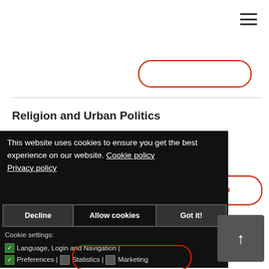[Figure (screenshot): Hamburger menu icon (three horizontal bars) in top right corner]
[Figure (screenshot): Red outlined rounded button in upper portion of page]
Religion and Urban Politics
[Figure (screenshot): Cookie consent dialog overlay with black background containing cookie notice text, policy links, Decline/Allow cookies/Got it! buttons, and cookie settings checkboxes]
[Figure (screenshot): Gray scroll-to-top button with upward arrow]